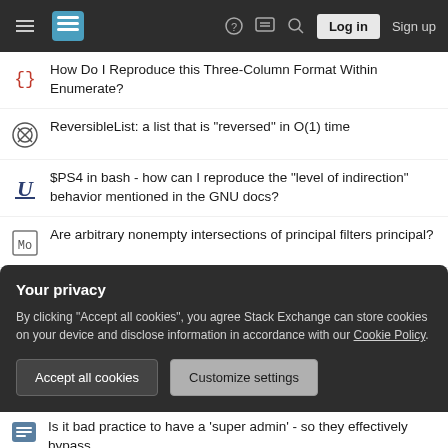Stack Exchange navigation bar with hamburger menu, logo, help, chat, search, Log in, Sign up
How Do I Reproduce this Three-Column Format Within Enumerate?
ReversibleList: a list that is "reversed" in O(1) time
$PS4 in bash - how can I reproduce the "level of indirection" behavior mentioned in the GNU docs?
Are arbitrary nonempty intersections of principal filters principal?
Why is there a transformer in a radio receiver?
Evaluating Pfaffian
Could Congress "bribe" the President to sign a bill by including a presidential pay raise?
What is the political justification by China and India for not
Your privacy
By clicking "Accept all cookies", you agree Stack Exchange can store cookies on your device and disclose information in accordance with our Cookie Policy.
Accept all cookies   Customize settings
Is it bad practice to have a 'super admin' - so they effectively bypass